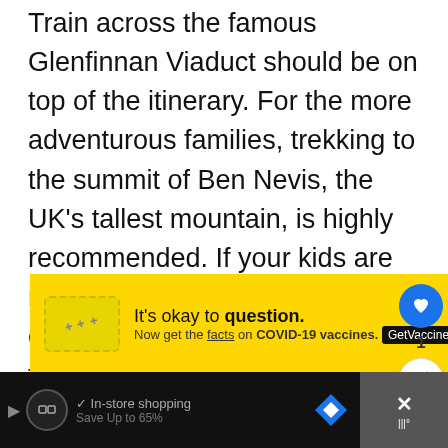Train across the famous Glenfinnan Viaduct should be on top of the itinerary. For the more adventurous families, trekking to the summit of Ben Nevis, the UK's tallest mountain, is highly recommended. If your kids are not fond of trekking, there is a cable car that can take you to the top.
[Figure (screenshot): Yellow advertisement banner: 'It's okay to question. Now get the facts on COVID-19 vaccines. GetVaccineAnswers.org' with a bandage icon on the left and a blue X close button on the top right.]
[Figure (infographic): Social sidebar with blue heart/like button, like count '1', and share button.]
[Figure (screenshot): What's Next section showing a sunset thumbnail with text: 'WHAT'S NEXT → 50+ Perfect Adventure...']
[Figure (screenshot): Bottom black bar with in-store shopping ad elements including a checkmark, 'In-store shopping' text, navigation arrow icons, and close X button.]